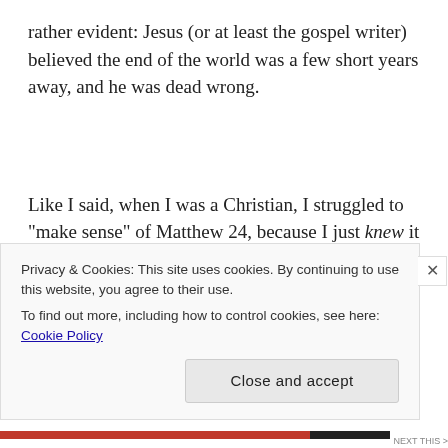rather evident: Jesus (or at least the gospel writer) believed the end of the world was a few short years away, and he was dead wrong.
Like I said, when I was a Christian, I struggled to “make sense” of Matthew 24, because I just knew it couldn’t mean what it “seemed” to say. Now that I no longer have to make passages fit the end result I’m
Privacy & Cookies: This site uses cookies. By continuing to use this website, you agree to their use.
To find out more, including how to control cookies, see here: Cookie Policy
Close and accept